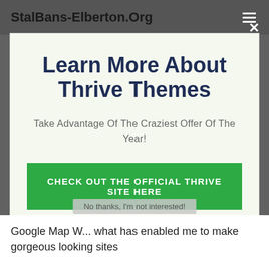StalBans-Elberton.Org
Learn More About Thrive Themes
Take Advantage Of The Craziest Offer Of The Year!
CHECK OUT THE OFFICIAL THRIVE SITE HERE
No thanks, I'm not interested!
Google Map W... what has enabled me to make gorgeous looking sites